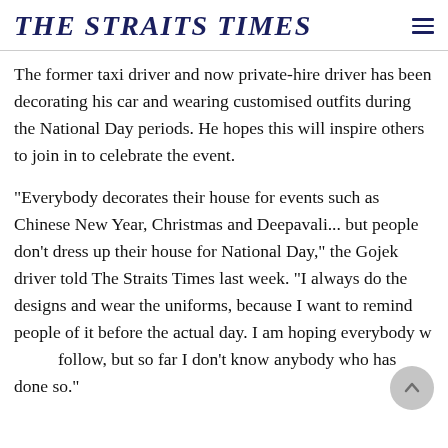THE STRAITS TIMES
The former taxi driver and now private-hire driver has been decorating his car and wearing customised outfits during the National Day periods. He hopes this will inspire others to join in to celebrate the event.
"Everybody decorates their house for events such as Chinese New Year, Christmas and Deepavali... but people don't dress up their house for National Day," the Gojek driver told The Straits Times last week. "I always do the designs and wear the uniforms, because I want to remind people of it before the actual day. I am hoping everybody will follow, but so far I don't know anybody who has done so."